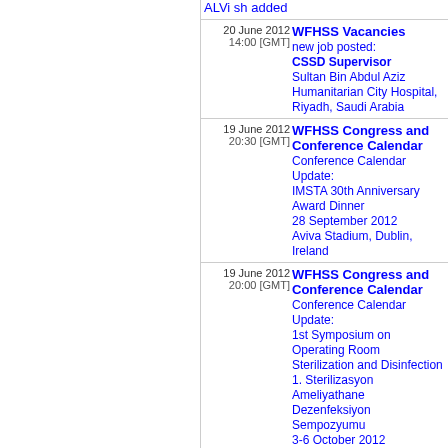ALVi sh added
20 June 2012 14:00 [GMT] WFHSS Vacancies new job posted: CSSD Supervisor Sultan Bin Abdul Aziz Humanitarian City Hospital, Riyadh, Saudi Arabia
19 June 2012 20:30 [GMT] WFHSS Congress and Conference Calendar Conference Calendar Update: IMSTA 30th Anniversary Award Dinner 28 September 2012 Aviva Stadium, Dublin, Ireland
19 June 2012 20:00 [GMT] WFHSS Congress and Conference Calendar Conference Calendar Update: 1st Symposium on Operating Room Sterilization and Disinfection 1. Sterilizasyon Ameliyathane Dezenfeksiyon Sempozyumu 3-6 October 2012 Gaziantep, Turkey
16 June 2012 09:00 [GMT] WFHSS Congress and Conference Calendar Conference Calendar Update: Annual WFHSS and DAS Conference 2013